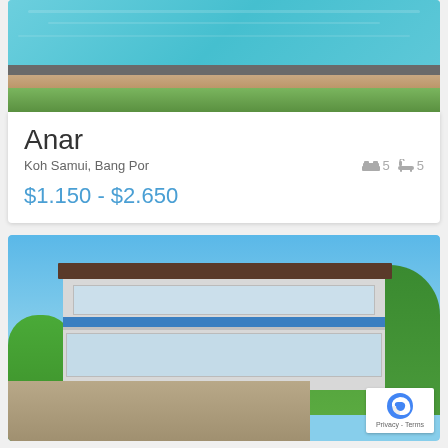[Figure (photo): Aerial view of an infinity pool with turquoise water, grey tile border, pebble edging, and green lawn below]
Anar
Koh Samui, Bang Por
5 bedrooms, 5 bathrooms
$1.150 - $2.650
[Figure (photo): Exterior of a modern multi-story villa with blue mosaic tile accent, large glass windows, balconies, set on a hillside with tropical greenery and stone retaining wall]